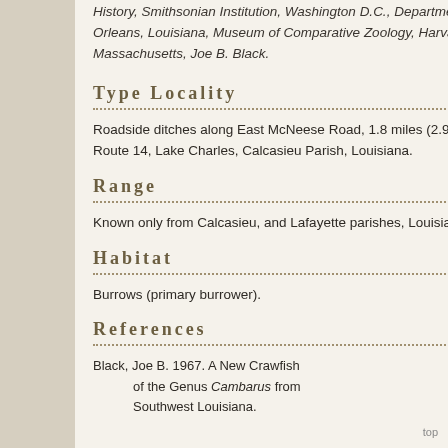History, Smithsonian Institution, Washington D.C., Department of Zoology, Tulane University, New Orleans, Louisiana, Museum of Comparative Zoology, Harvard University, Cambridge, Massachusetts, Joe B. Black.
Type Locality
Roadside ditches along East McNeese Road, 1.8 miles (2.9 km) west of intersection with State Route 14, Lake Charles, Calcasieu Parish, Louisiana.
Range
Known only from Calcasieu, and Lafayette parishes, Louisiana, and Brazoria County, Texas.
Habitat
Burrows (primary burrower).
References
Black, Joe B. 1967. A New Crawfish of the Genus Cambarus from Southwest Louisiana.